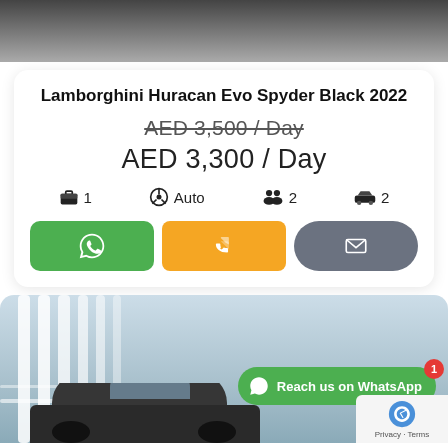[Figure (photo): Top dark/grey textured image strip (road or surface)]
Lamborghini Huracan Evo Spyder Black 2022
AED 3,500 / Day (strikethrough/original price)
AED 3,300 / Day (discounted price)
1 bag | Auto | 2 passengers | 2 doors
WhatsApp, Call, Email buttons
[Figure (photo): Bottom photo: car in front of white architectural columns/building with WhatsApp overlay button and reCAPTCHA badge]